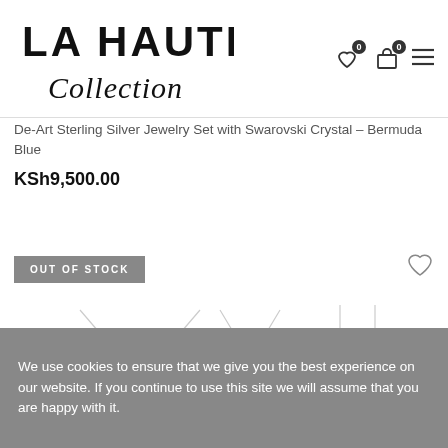[Figure (logo): La Haute Collection logo — bold sans-serif 'LA HAUTE' on top with italic script 'Collection' below]
De-Art Sterling Silver Jewelry Set with Swarovski Crystal – Bermuda Blue
KSh9,500.00
OUT OF STOCK
[Figure (illustration): Light grey line-drawing illustration of a jewelry set (necklaces/earrings) on white background]
We use cookies to ensure that we give you the best experience on our website. If you continue to use this site we will assume that you are happy with it.